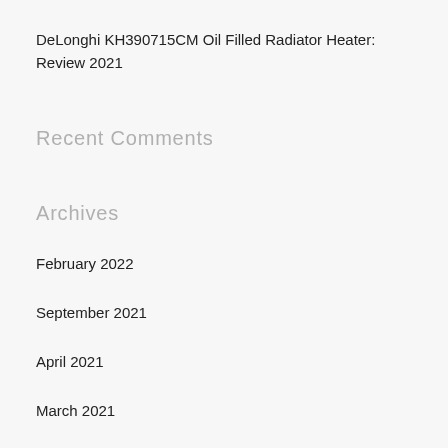DeLonghi KH390715CM Oil Filled Radiator Heater: Review 2021
Recent Comments
Archives
February 2022
September 2021
April 2021
March 2021